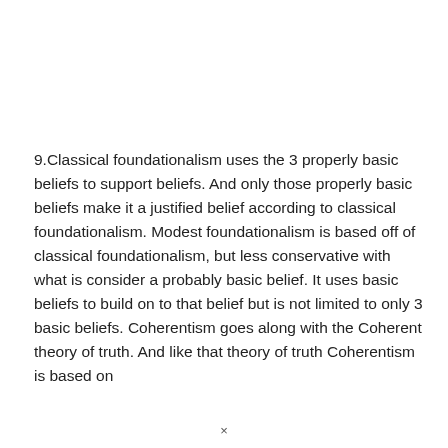9.Classical foundationalism uses the 3 properly basic beliefs to support beliefs. And only those properly basic beliefs make it a justified belief according to classical foundationalism. Modest foundationalism is based off of classical foundationalism, but less conservative with what is consider a probably basic belief. It uses basic beliefs to build on to that belief but is not limited to only 3 basic beliefs. Coherentism goes along with the Coherent theory of truth. And like that theory of truth Coherentism is based on
×